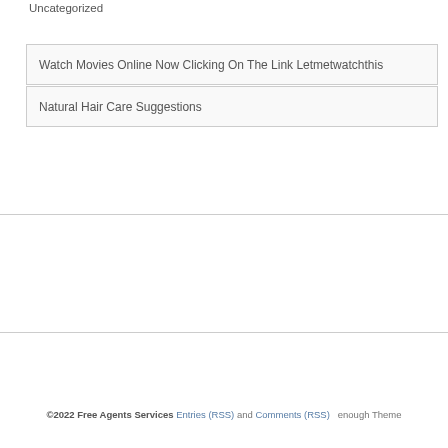Uncategorized
Watch Movies Online Now Clicking On The Link Letmetwatchthis
Natural Hair Care Suggestions
©2022 Free Agents Services Entries (RSS) and Comments (RSS)  enough Theme